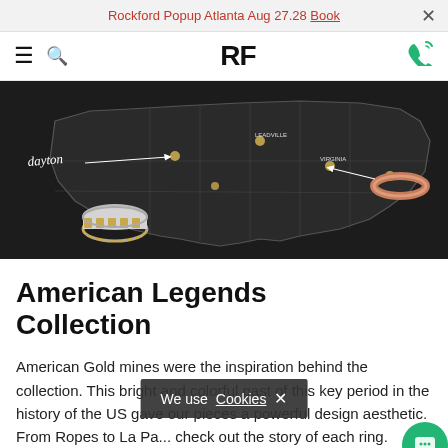Rockford Popup Atlanta Aug 27.28 Book
RF (logo) navigation bar with hamburger menu, search, logo, and phone icon
[Figure (photo): Dark map of the United States with gold dots marking locations, handwritten 'dayton' label with arrow, a silver and gold ring, and a rose gold ring on the right side with arrows pointing to locations on the map.]
American Legends Collection
American Gold mines were the inspiration behind the collection. This bright and colorful past of this key period in the history of the US gave our pieces a powerful design aesthetic. From Ropes to La Pa... check out the story of each ring.
We use Cookies